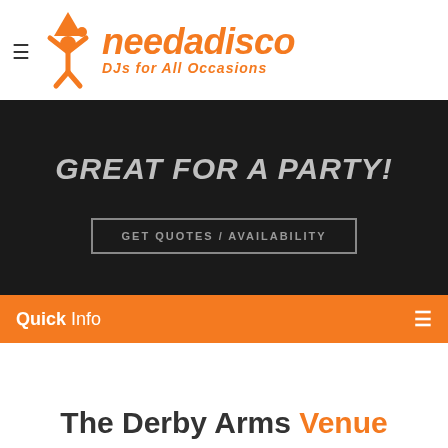[Figure (logo): needadisco logo — orange figure with party hat raising arms, with 'needadisco' text in orange italic and 'DJs for All Occasions' tagline]
GREAT FOR A PARTY!
GET QUOTES / AVAILABILITY
Quick Info
The Derby Arms Venue